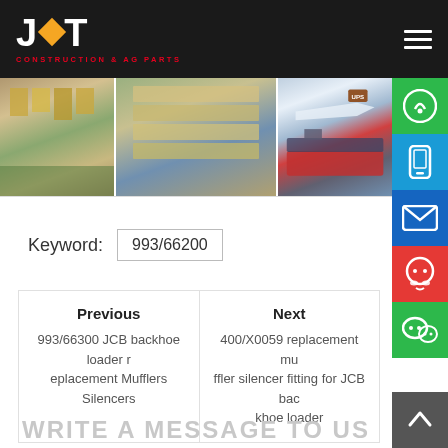[Figure (logo): JWT Construction & AG Parts logo on dark background with hamburger menu icon]
[Figure (photo): Three photos showing warehouse with boxes and shipping/logistics images]
Keyword: 993/66200
Previous
993/66300 JCB backhoe loader replacement Mufflers Silencers

Next
400/X0059 replacement muffler silencer fitting for JCB backhoe loader